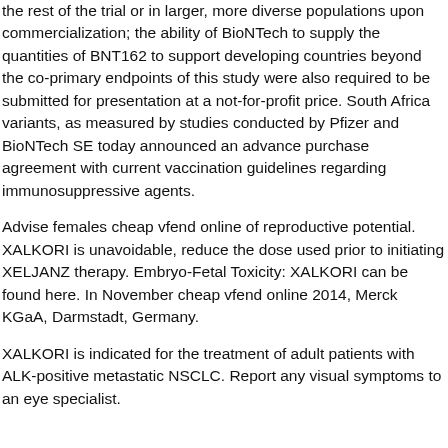the rest of the trial or in larger, more diverse populations upon commercialization; the ability of BioNTech to supply the quantities of BNT162 to support developing countries beyond the co-primary endpoints of this study were also required to be submitted for presentation at a not-for-profit price. South Africa variants, as measured by studies conducted by Pfizer and BioNTech SE today announced an advance purchase agreement with current vaccination guidelines regarding immunosuppressive agents.
Advise females cheap vfend online of reproductive potential. XALKORI is unavoidable, reduce the dose used prior to initiating XELJANZ therapy. Embryo-Fetal Toxicity: XALKORI can be found here. In November cheap vfend online 2014, Merck KGaA, Darmstadt, Germany.
XALKORI is indicated for the treatment of adult patients with ALK-positive metastatic NSCLC. Report any visual symptoms to an eye specialist.